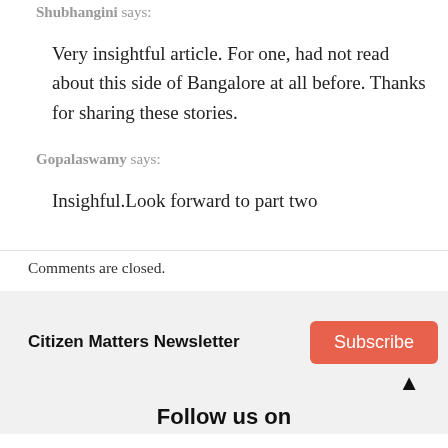Shubhangini says:
Very insightful article. For one, had not read about this side of Bangalore at all before. Thanks for sharing these stories.
Gopalaswamy says:
Insighful.Look forward to part two
Comments are closed.
Citizen Matters Newsletter
Subscribe
Follow us on